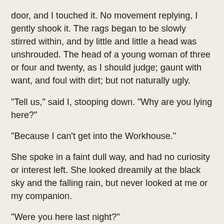door, and I touched it. No movement replying, I gently shook it. The rags began to be slowly stirred within, and by little and little a head was unshrouded. The head of a young woman of three or four and twenty, as I should judge; gaunt with want, and foul with dirt; but not naturally ugly.
"Tell us," said I, stooping down. "Why are you lying here?"
"Because I can't get into the Workhouse."
She spoke in a faint dull way, and had no curiosity or interest left. She looked dreamily at the black sky and the falling rain, but never looked at me or my companion.
"Were you here last night?"
"Yes, All last night. And the night afore too."
"Do you know any of these others?"
"I know her next but one. She was here last night, and she told me she come out of Essex. I don't know no more of her."